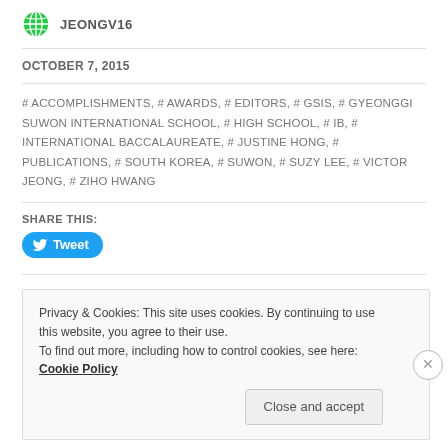JEONGV16
OCTOBER 7, 2015
# ACCOMPLISHMENTS, # AWARDS, # EDITORS, # GSIS, # GYEONGGI SUWON INTERNATIONAL SCHOOL, # HIGH SCHOOL, # IB, # INTERNATIONAL BACCALAUREATE, # JUSTINE HONG, # PUBLICATIONS, # SOUTH KOREA, # SUWON, # SUZY LEE, # VICTOR JEONG, # ZIHO HWANG
SHARE THIS:
Tweet
Privacy & Cookies: This site uses cookies. By continuing to use this website, you agree to their use.
To find out more, including how to control cookies, see here: Cookie Policy
Close and accept